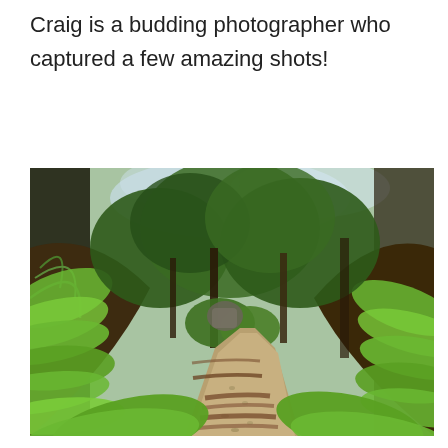Craig is a budding photographer who captured a few amazing shots!
[Figure (photo): A lush forest trail with ferns and trees on either side, leading up a dirt and gravel path with wooden log steps, photographed in natural light.]